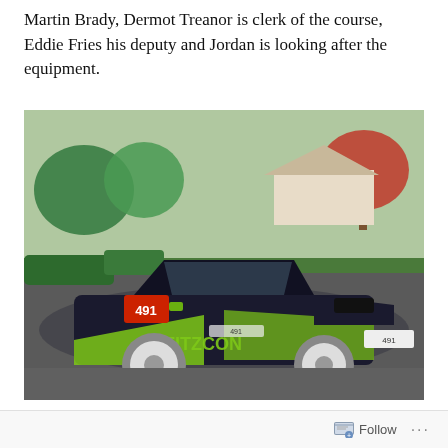Martin Brady, Dermot Treanor is clerk of the course, Eddie Fries his deputy and Jordan is looking after the equipment.
[Figure (photo): A Mitsubishi Lancer Evolution rally car with number 491, wrapped in black and green livery with sponsor logos including 'FITZCON', parked in a suburban driveway or parking area with trees and houses visible in the background.]
The rally's main sponsor is McKenna Motorsport which is
Follow ...